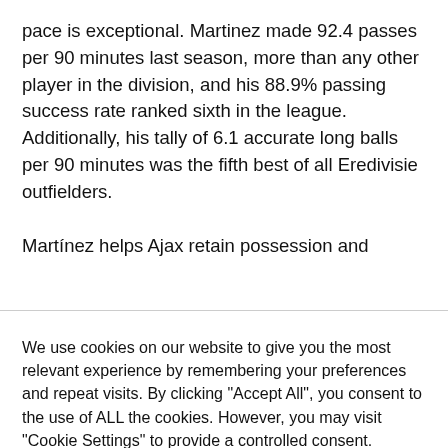pace is exceptional. Martinez made 92.4 passes per 90 minutes last season, more than any other player in the division, and his 88.9% passing success rate ranked sixth in the league. Additionally, his tally of 6.1 accurate long balls per 90 minutes was the fifth best of all Eredivisie outfielders.
Martínez helps Ajax retain possession and
We use cookies on our website to give you the most relevant experience by remembering your preferences and repeat visits. By clicking "Accept All", you consent to the use of ALL the cookies. However, you may visit "Cookie Settings" to provide a controlled consent.